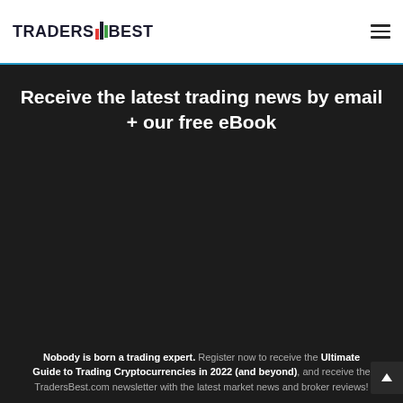TRADERS BEST
Receive the latest trading news by email + our free eBook
Nobody is born a trading expert. Register now to receive the Ultimate Guide to Trading Cryptocurrencies in 2022 (and beyond), and receive the TradersBest.com newsletter with the latest market news and broker reviews!